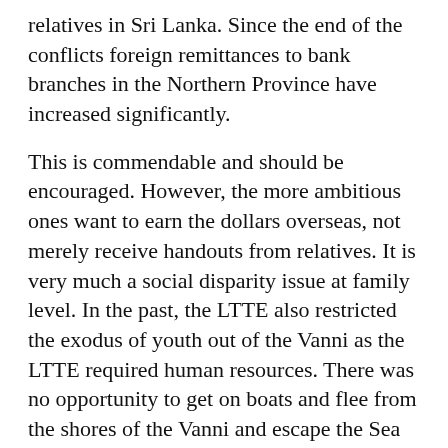relatives in Sri Lanka. Since the end of the conflicts foreign remittances to bank branches in the Northern Province have increased significantly.
This is commendable and should be encouraged. However, the more ambitious ones want to earn the dollars overseas, not merely receive handouts from relatives. It is very much a social disparity issue at family level. In the past, the LTTE also restricted the exodus of youth out of the Vanni as the LTTE required human resources. There was no opportunity to get on boats and flee from the shores of the Vanni and escape the Sea Tigers. Today the situation is different, so people can take a chance.
Q: Why are foreign governments slow to act on illegal immigrants from Sri Lanka?